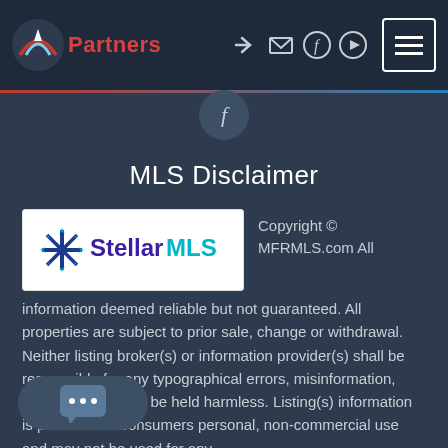Partners — navigation bar with login, mail, facebook, youtube icons and hamburger menu
[Figure (illustration): Facebook 'f' circle button in section divider area]
MLS Disclaimer
[Figure (logo): Stellar MLS logo — snowflake/star icon in blue and cyan, with 'Stellar' in dark purple and 'MLS' in cyan]
Copyright © MFRMLS.com All information deemed reliable but not guaranteed. All properties are subject to prior sale, change or withdrawal. Neither listing broker(s) or information provider(s) shall be responsible for any typographical errors, misinformation, misprints and shall be held harmless. Listing(s) information is provided for consumers personal, non-commercial use and may not be used for any
[Figure (illustration): Chat widget bubble with three dots indicating a live chat feature]